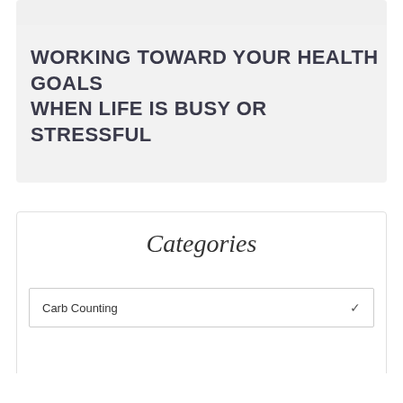WORKING TOWARD YOUR HEALTH GOALS WHEN LIFE IS BUSY OR STRESSFUL
Categories
Carb Counting